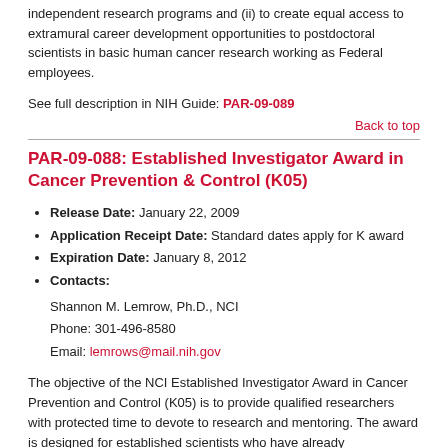independent research programs and (ii) to create equal access to extramural career development opportunities to postdoctoral scientists in basic human cancer research working as Federal employees.
See full description in NIH Guide: PAR-09-089
Back to top
PAR-09-088: Established Investigator Award in Cancer Prevention & Control (K05)
Release Date: January 22, 2009
Application Receipt Date: Standard dates apply for K award
Expiration Date: January 8, 2012
Contacts:
Shannon M. Lemrow, Ph.D., NCI
Phone: 301-496-8580
Email: lemrows@mail.nih.gov
The objective of the NCI Established Investigator Award in Cancer Prevention and Control (K05) is to provide qualified researchers with protected time to devote to research and mentoring. The award is designed for established scientists who have already demonstrated a sustained, high level of research and mentoring productivity and who need K05 support to continue these